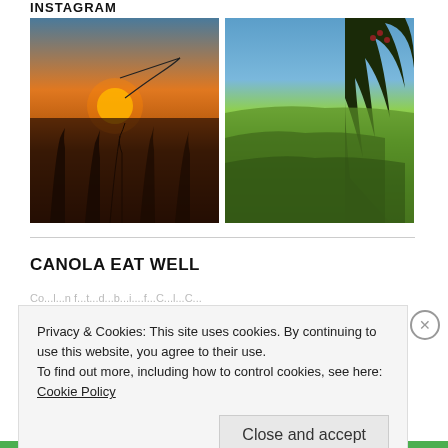INSTAGRAM
[Figure (photo): Wheat field at sunset with golden light and silhouetted grain stalks against an orange and blue sky]
[Figure (photo): Green rolling field under a clear blue sky with a dark tree silhouette on the right side]
CANOLA EAT WELL
Privacy & Cookies: This site uses cookies. By continuing to use this website, you agree to their use. To find out more, including how to control cookies, see here: Cookie Policy
Close and accept